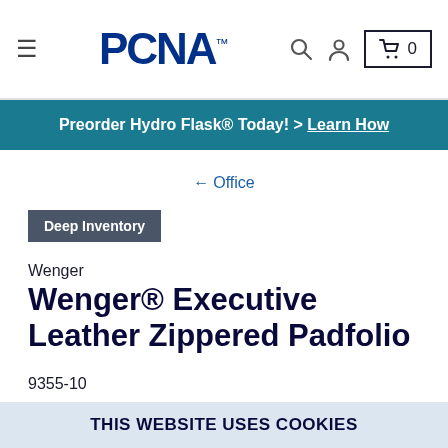PCNA navigation bar with hamburger menu, PCNA logo, search icon, user icon, and cart (0)
Preorder Hydro Flask® Today! > Learn How
← Office
Deep Inventory
Wenger
Wenger® Executive Leather Zippered Padfolio
9355-10
[Figure (photo): Product image area showing the Wenger Executive Leather Zippered Padfolio (partially visible at bottom)]
THIS WEBSITE USES COOKIES